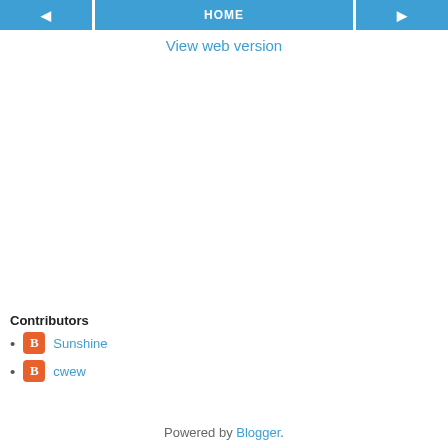◀  HOME  ▶
View web version
Contributors
Sunshine
cwew
Powered by Blogger.